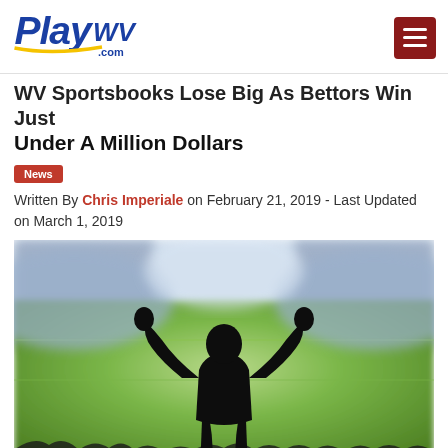PlayWV.com
WV Sportsbooks Lose Big As Bettors Win Just Under A Million Dollars
News
Written By Chris Imperiale on February 21, 2019 - Last Updated on March 1, 2019
[Figure (photo): Silhouette of a celebrating fan with arms raised at a sports stadium with green field in background]